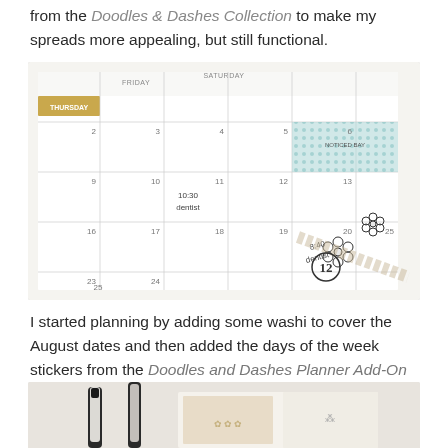from the Doodles & Dashes Collection to make my spreads more appealing, but still functional.
[Figure (photo): Angled view of a monthly calendar planner spread with washi tape, handwritten dentist appointments, and floral doodle stickers decorating the pages.]
I started planning by adding some washi to cover the August dates and then added the days of the week stickers from the Doodles and Dashes Planner Add-On Kit.
[Figure (photo): Partial view of decorative pens and planner sticker sheets with floral patterns, gold accents, and calendar elements visible.]